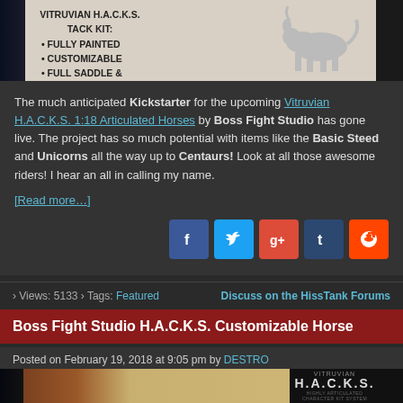[Figure (photo): Promotional image for Vitruvian H.A.C.K.S. Tack Kit showing text: VITRUVIAN H.A.C.K.S. TACK KIT: FULLY PAINTED, CUSTOMIZABLE, FULL SADDLE & and a horse figure silhouette on beige background]
The much anticipated Kickstarter for the upcoming Vitruvian H.A.C.K.S. 1:18 Articulated Horses by Boss Fight Studio has gone live. The project has so much potential with items like the Basic Steed and Unicorns all the way up to Centaurs! Look at all those awesome riders! I hear an all in calling my name.
[Read more…]
[Figure (infographic): Social sharing buttons: Facebook (blue), Twitter (light blue), Google+ (red), Tumblr (dark blue), Reddit (orange)]
› Views: 5133 › Tags: Featured    Discuss on the HissTank Forums
Boss Fight Studio H.A.C.K.S. Customizable Horse
Posted on February 19, 2018 at 9:05 pm by DESTRO
[Figure (photo): Boss Fight Studio H.A.C.K.S. promotional image showing Pegasus, Basic H.A.C.K.S. Customizable Horse in Multiple Colors Plus Add-On, Australian Tack, and Unicorns figures on parchment-style background with H.A.C.K.S. logo]